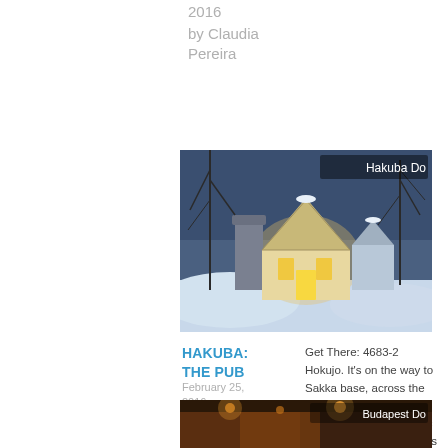2016
by Claudia Pereira
[Figure (photo): Winter scene showing a Tudor-style building covered in snow amid bare trees, glowing with warm interior light. Label: Hakuba Do]
HAKUBA: THE PUB
February 25, 2016
by Grace Burns
Get There: 4683-2 Hokujo. It's on the way to Sakka base, across the road from Rhythm SnowSports. This classic Tudor-style English pub is buried under…
[Figure (photo): Interior warmly lit scene. Label: Budapest Do]